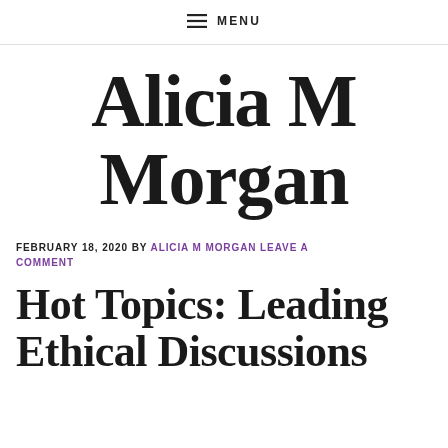≡ MENU
Alicia M Morgan
FEBRUARY 18, 2020 BY ALICIA M MORGAN LEAVE A COMMENT
Hot Topics: Leading Ethical Discussions